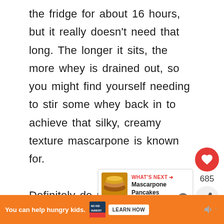the fridge for about 16 hours, but it really doesn't need that long. The longer it sits, the more whey is drained out, so you might find yourself needing to stir some whey back in to achieve that silky, creamy texture mascarpone is known for.
Definitely do not throw away the whey because it's a great addition to a variety of things. I like to use it in
[Figure (screenshot): WHAT'S NEXT arrow label with Mascarpone Pancakes thumbnail and title]
[Figure (infographic): Orange advertisement bar: You can help hungry kids. No Kid Hungry logo. LEARN HOW button. Close X button. Mute icon with degree symbol.]